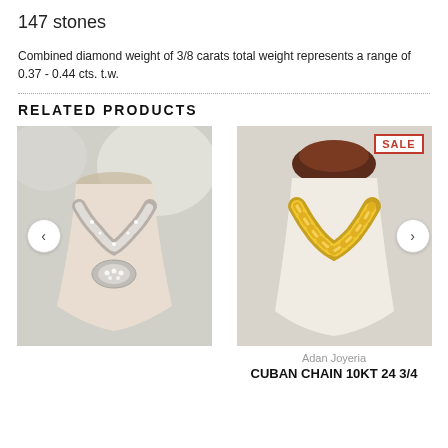147 stones
Combined diamond weight of 3/8 carats total weight represents a range of 0.37 - 0.44 cts. t.w.
RELATED PRODUCTS
[Figure (photo): Diamond Cuban link necklace on a white mannequin bust, silver/white gold tone with pave diamonds]
[Figure (photo): Gold Cuban chain necklace on a white mannequin bust with dark brown top, labeled SALE]
Adan Joyeria
CUBAN CHAIN 10KT 24 3/4